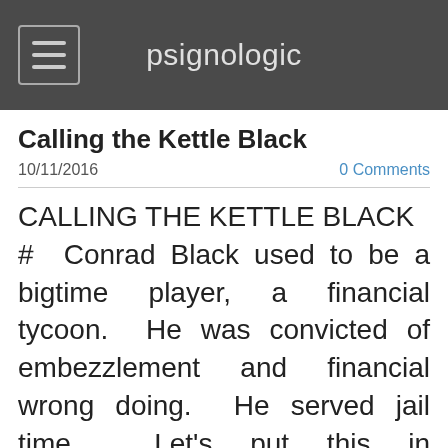psignologic
Calling the Kettle Black
10/11/2016
0 Comments
CALLING THE KETTLE BLACK
#  Conrad Black used to be a bigtime player, a financial tycoon.  He was convicted of embezzlement and financial wrong doing.  He served jail time.  Let's put this in perspective.  The crooks who instigated Mortgage-Backed Securities scam, got off relatively Scott-free.  The lame-brain managers of Nortel got off relatively Scott-free.  In the high-flying financial world, you have to be incredibly